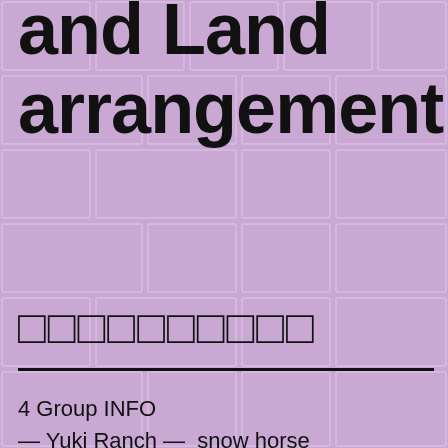and Land arrangement.
□□□□□□□□□□
4 Group INFO
— Yuki Ranch —  snow horse